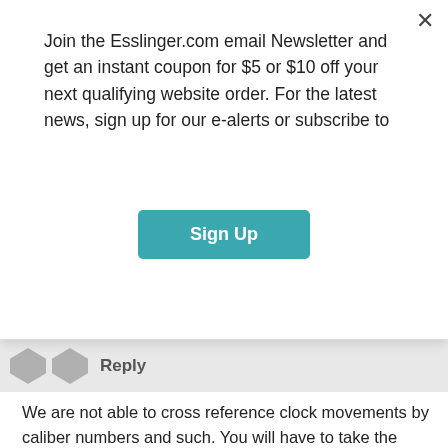Join the Esslinger.com email Newsletter and get an instant coupon for $5 or $10 off your next qualifying website order. For the latest news, sign up for our e-alerts or subscribe to
Sign Up
Reply
We are not able to cross reference clock movements by caliber numbers and such. You will have to take the movement out of your clock and measure the shaft length. You want a shaft with the threaded portion slightly longer than the thickness of the clock face/dial. This clock movement is a popular one with four different shaft length options: https://www.esslinger.com/mini-quartz-high-torque-clock-movement-aa-with-hardware/
Once you know the correct size movement you can use this article to help determine what kind of movement you would like: https://blog.esslinger.com/compare-clock-